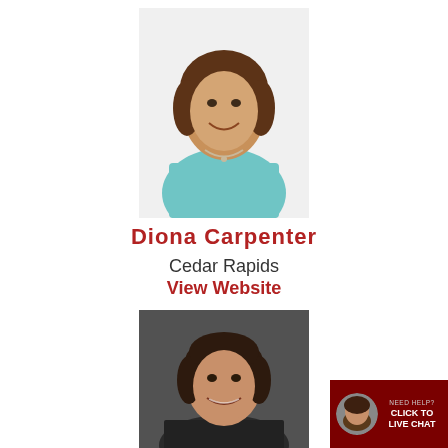[Figure (photo): Professional headshot of Diona Carpenter, a woman with brown hair wearing a light teal top and necklace, smiling against a white background]
Diona Carpenter
Cedar Rapids
View Website
[Figure (photo): Professional headshot of a woman with dark brown hair, smiling, against a dark gray background]
[Figure (screenshot): Chat widget showing a small circular avatar photo of a woman and text reading NEED HELP? CLICK TO LIVE CHAT on a dark red background]